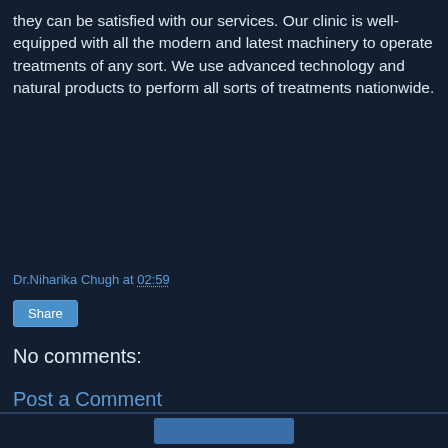they can be satisfied with our services. Our clinic is well-equipped with all the modern and latest machinery to operate treatments of any sort. We use advanced technology and natural products to perform all sorts of treatments nationwide.
Dr.Niharika Chugh at 02:59
Share
No comments:
Post a Comment